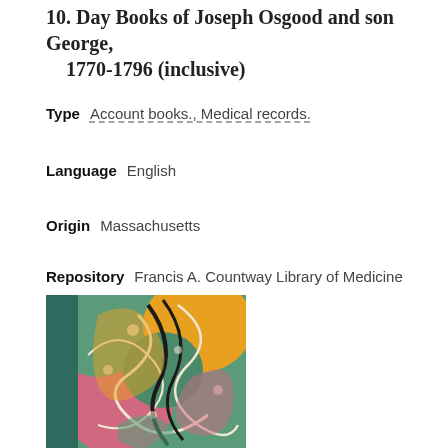10. Day Books of Joseph Osgood and son George, 1770-1796 (inclusive)
Type   Account books., Medical records.
Language   English
Origin   Massachusetts
Repository   Francis A. Countway Library of Medicine
Bookmark   ○
[Figure (photo): Marbled book cover with green spine on the left and a colorful marbled pattern in green, yellow, orange, pink, and black swirling design on the cover board]